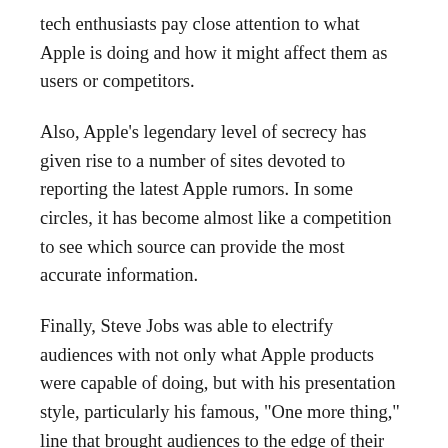tech enthusiasts pay close attention to what Apple is doing and how it might affect them as users or competitors.
Also, Apple's legendary level of secrecy has given rise to a number of sites devoted to reporting the latest Apple rumors. In some circles, it has become almost like a competition to see which source can provide the most accurate information.
Finally, Steve Jobs was able to electrify audiences with not only what Apple products were capable of doing, but with his presentation style, particularly his famous, "One more thing," line that brought audiences to the edge of their seats.